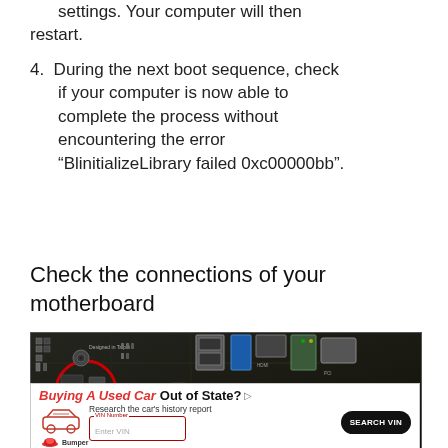settings. Your computer will then restart.
4. During the next boot sequence, check if your computer is now able to complete the process without encountering the error “BlinitializeLibrary failed 0xc00000bb”.
Check the connections of your motherboard
[Figure (photo): Close-up photo of a computer motherboard showing ports, chips, slots, and a red circle highlighting a component area. Text visible includes 'Designed in Taipei', 'ASSEM', 'AUDIO', 'USB 3.0', 'HDMI', 'PCI'.]
[Figure (other): Advertisement banner: 'Buying A Used Car Out of State? Research the car's history report. VIN Number - Enter VIN - SEARCH VIN. Bumper logo.']